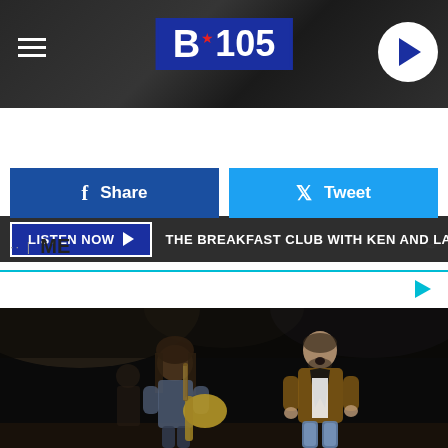[Figure (screenshot): B105 radio station website header with logo, hamburger menu, and play button on dark textured background]
LISTEN NOW   THE BREAKFAST CLUB WITH KEN AND LAUREN
Share
Tweet
ME
[Figure (photo): Two musicians performing on a dark stage. Left: guitarist with long hair playing a yellow guitar. Right: male singer in brown/black jacket and jeans, mouth open, singing.]